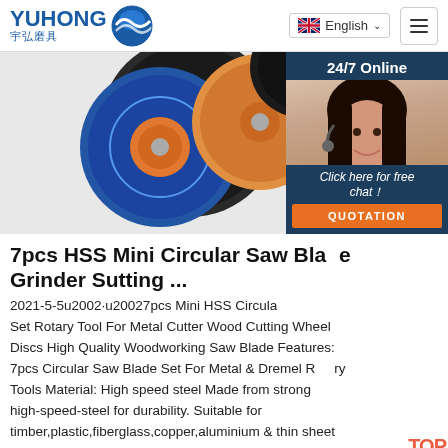[Figure (logo): YUHONG logo with blue wave icon and Chinese characters 宇弘磨具]
[Figure (screenshot): Navigation bar with English language selector and hamburger menu button]
[Figure (photo): Grinding and cutting discs product image on grey background with 24/7 Online chat widget showing female customer service agent, Click here for free chat! prompt, and QUOTATION orange button]
7pcs HSS Mini Circular Saw Blade Grinder Sutting ...
2021-5-5u2002·u20027pcs Mini HSS Circular Saw Blade Set Rotary Tool For Metal Cutter Wood Cutting Wheel Discs High Quality Woodworking Saw Blade Features: 7pcs Circular Saw Blade Set For Metal & Dremel Rotary Tools Material: High speed steel Made from strong high-speed-steel for durability. Suitable for timber,plastic,fiberglass,copper,aluminium & thin sheet metal etc. High Speed Steel blades set for ...